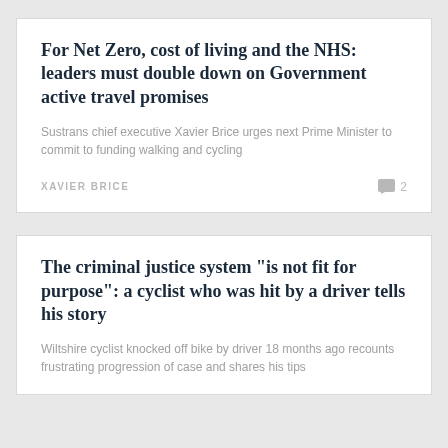For Net Zero, cost of living and the NHS: leaders must double down on Government active travel promises
Sustrans chief executive Xavier Brice urges next Prime Minister to commit to funding walking and cycling
XAVIER BRICE
The criminal justice system "is not fit for purpose": a cyclist who was hit by a driver tells his story
Wiltshire cyclist knocked off bike by driver 18 months ago recounts frustrating progression of case and shares his tips